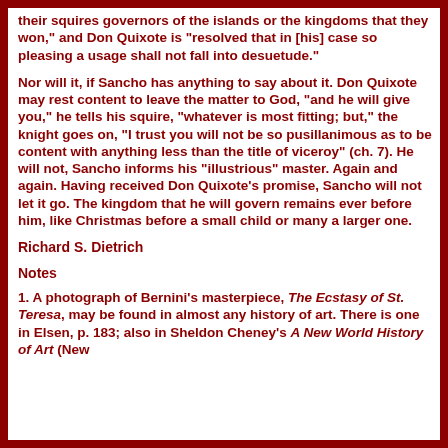their squires governors of the islands or the kingdoms that they won," and Don Quixote is "resolved that in [his] case so pleasing a usage shall not fall into desuetude."
Nor will it, if Sancho has anything to say about it. Don Quixote may rest content to leave the matter to God, "and he will give you," he tells his squire, "whatever is most fitting; but," the knight goes on, "I trust you will not be so pusillanimous as to be content with anything less than the title of viceroy" (ch. 7). He will not, Sancho informs his "illustrious" master. Again and again. Having received Don Quixote's promise, Sancho will not let it go. The kingdom that he will govern remains ever before him, like Christmas before a small child or many a larger one.
Richard S. Dietrich
Notes
1. A photograph of Bernini's masterpiece, The Ecstasy of St. Teresa, may be found in almost any history of art. There is one in Elsen, p. 183; also in Sheldon Cheney's A New World History of Art (New